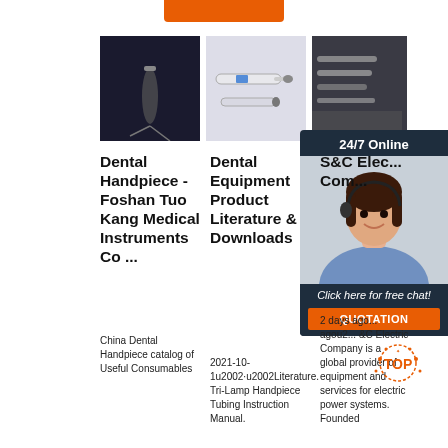[Figure (photo): Orange button/banner at top center of page]
[Figure (photo): Dental handpiece on dark background]
[Figure (photo): Dental handpiece on light purple background]
[Figure (photo): Dental equipment metal tools on dark background]
[Figure (photo): Customer service agent with headset, 24/7 Online chat overlay with QUOTATION button]
Dental Handpiece - Foshan Tuo Kang Medical Instruments Co ...
China Dental Handpiece catalog of Useful Consumables
Dental Equipment Product Literature & Downloads
2021-10-1u2002·u2002Literature. Tri-Lamp Handpiece Tubing Instruction Manual. Download Tri-...
S&C Elec... Com...
2 days ago... agou2... &C Electric Company is a global provider of equipment and services for electric power systems. Founded